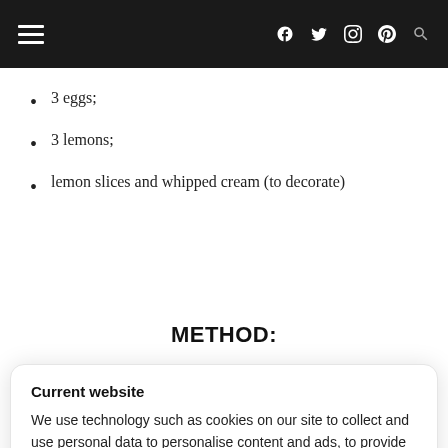≡   f  🐦  📷  📌  🔍
3 eggs;
3 lemons;
lemon slices and whipped cream (to decorate)
METHOD:
Current website

We use technology such as cookies on our site to collect and use personal data to personalise content and ads, to provide social media features and to analyse our traffic.

Do Not Sell My Data   Agree and proceed

Powered by 🛡niConsent